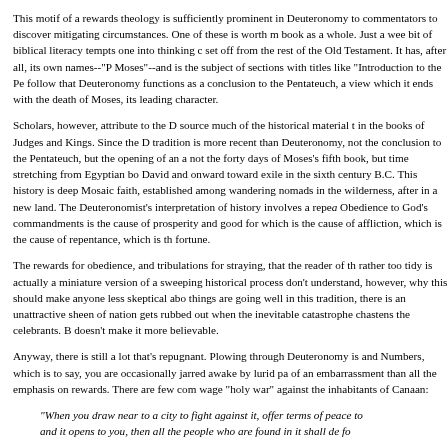This motif of a rewards theology is sufficiently prominent in Deuteronomy to commentators to discover mitigating circumstances. One of these is worth m book as a whole. Just a wee bit of biblical literacy tempts one into thinking c set off from the rest of the Old Testament. It has, after all, its own names--"P Moses"--and is the subject of sections with titles like "Introduction to the Pe follow that Deuteronomy functions as a conclusion to the Pentateuch, a view which it ends with the death of Moses, its leading character.
Scholars, however, attribute to the D source much of the historical material t in the books of Judges and Kings. Since the D tradition is more recent than Deuteronomy, not the conclusion to the Pentateuch, but the opening of an a not the forty days of Moses's fifth book, but time stretching from Egyptian bo David and onward toward exile in the sixth century B.C. This history is deep Mosaic faith, established among wandering nomads in the wilderness, after in a new land. The Deuteronomist's interpretation of history involves a repea Obedience to God's commandments is the cause of prosperity and good for which is the cause of affliction, which is the cause of repentance, which is th fortune.
The rewards for obedience, and tribulations for straying, that the reader of th rather too tidy is actually a miniature version of a sweeping historical process don't understand, however, why this should make anyone less skeptical abo things are going well in this tradition, there is an unattractive sheen of nation gets rubbed out when the inevitable catastrophe chastens the celebrants. B doesn't make it more believable.
Anyway, there is still a lot that's repugnant. Plowing through Deuteronomy is and Numbers, which is to say, you are occasionally jarred awake by lurid pa of an embarrassment than all the emphasis on rewards. There are few com wage "holy war" against the inhabitants of Canaan:
"When you draw near to a city to fight against it, offer terms of peace to and it opens to you, then all the people who are found in it shall de fo